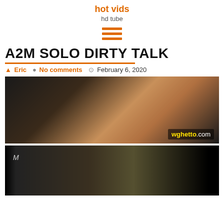hot vids
hd tube
[Figure (other): Hamburger menu icon with three orange horizontal lines]
A2M SOLO DIRTY TALK
Eric  No comments  February 6, 2020
[Figure (photo): Video thumbnail from wghetto.com]
[Figure (photo): Second video thumbnail, partially visible, dark toned]